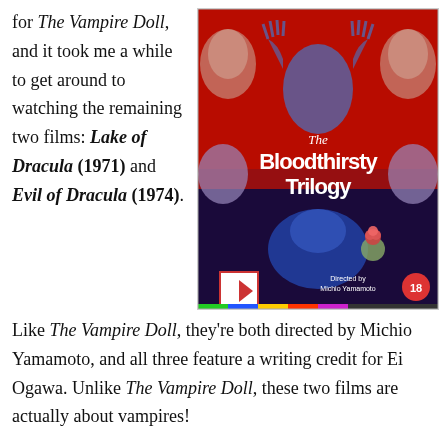for The Vampire Doll, and it took me a while to get around to watching the remaining two films: Lake of Dracula (1971) and Evil of Dracula (1974).
[Figure (photo): DVD/Blu-ray cover for 'The Bloodthirsty Trilogy' Arrow Video release. Shows horror imagery with figures on a red background. Directed by Michio Yamamoto. Rated 18.]
Like The Vampire Doll, they're both directed by Michio Yamamoto, and all three feature a writing credit for Ei Ogawa. Unlike The Vampire Doll, these two films are actually about vampires!